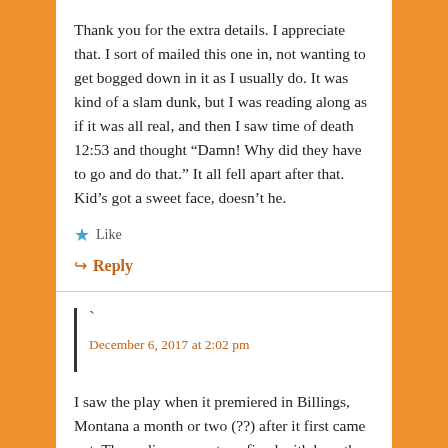Thank you for the extra details. I appreciate that. I sort of mailed this one in, not wanting to get bogged down in it as I usually do. It was kind of a slam dunk, but I was reading along as if it was all real, and then I saw time of death 12:53 and thought “Damn! Why did they have to go and do that.” It all fell apart after that. Kid’s got a sweet face, doesn’t he.
Like
Reply
December 6, 2017 at 2:02 pm
I saw the play when it premiered in Billings, Montana a month or two (??) after it first came out. The audience was transfixed with how the play was put together. There was